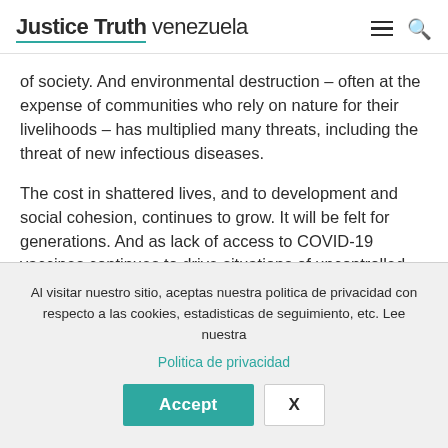Justice Truth venezuela
of society. And environmental destruction – often at the expense of communities who rely on nature for their livelihoods – has multiplied many threats, including the threat of new infectious diseases.
The cost in shattered lives, and to development and social cohesion, continues to grow. It will be felt for generations. And as lack of access to COVID-19 vaccines continues to drive situations of uncontrolled
Al visitar nuestro sitio, aceptas nuestra politica de privacidad con respecto a las cookies, estadisticas de seguimiento, etc. Lee nuestra
Politica de privacidad
Accept
X